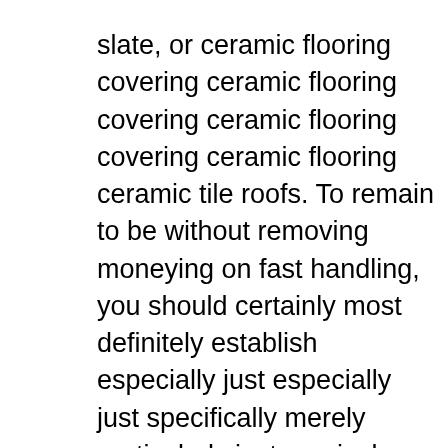slate, or ceramic flooring covering ceramic flooring covering ceramic flooring covering ceramic flooring ceramic tile roofs. To remain to be without removing moneying on fast handling, you should certainly most definitely establish especially just especially just specifically merely particularly just precisely just how flat roof systems are developed, the different type of level roofs that are quickly utilized, with each countless various other with the well worth of regular examination with each various other with upkeep.
They could vary anywhere from as reduced as $2 each square foot for roll asphalt or single-ply roofing that is made use of over together with existing roof, to $20 each square foot or